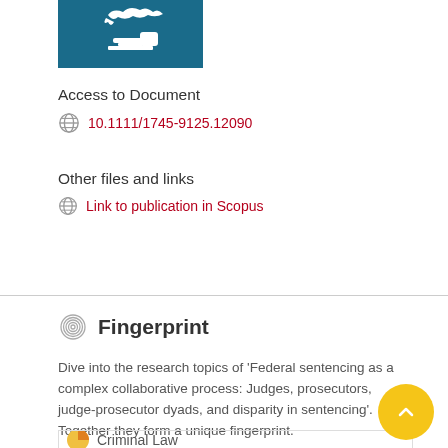[Figure (logo): Legal institution logo with bird and gavel on teal/blue background]
Access to Document
10.1111/1745-9125.12090
Other files and links
Link to publication in Scopus
Fingerprint
Dive into the research topics of 'Federal sentencing as a complex collaborative process: Judges, prosecutors, judge-prosecutor dyads, and disparity in sentencing'. Together they form a unique fingerprint.
Criminal Law